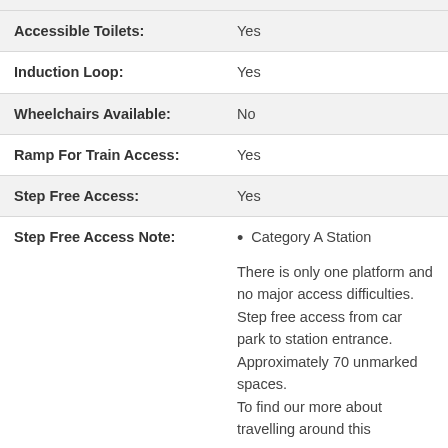| Feature | Value |
| --- | --- |
| Accessible Toilets: | Yes |
| Induction Loop: | Yes |
| Wheelchairs Available: | No |
| Ramp For Train Access: | Yes |
| Step Free Access: | Yes |
| Step Free Access Note: | • Category A Station

There is only one platform and no major access difficulties. Step free access from car park to station entrance. Approximately 70 unmarked spaces.
To find our more about travelling around this |